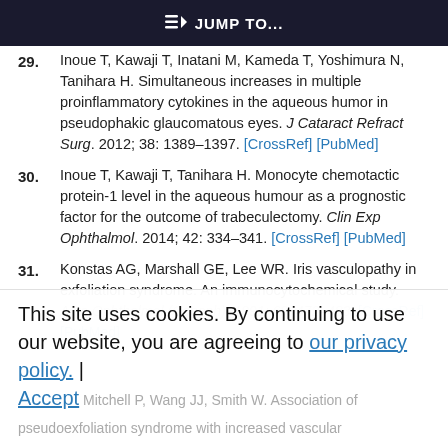JUMP TO...
29. Inoue T, Kawaji T, Inatani M, Kameda T, Yoshimura N, Tanihara H. Simultaneous increases in multiple proinflammatory cytokines in the aqueous humor in pseudophakic glaucomatous eyes. J Cataract Refract Surg. 2012; 38: 1389–1397. [CrossRef] [PubMed]
30. Inoue T, Kawaji T, Tanihara H. Monocyte chemotactic protein-1 level in the aqueous humour as a prognostic factor for the outcome of trabeculectomy. Clin Exp Ophthalmol. 2014; 42: 334–341. [CrossRef] [PubMed]
31. Konstas AG, Marshall GE, Lee WR. Iris vasculopathy in exfoliation syndrome. An immunocytochemical study. Acta Ophthalmol (Copenh). 1991; 69: 472–483. [CrossRef] [PubMed]
This site uses cookies. By continuing to use our website, you are agreeing to our privacy policy. | Accept